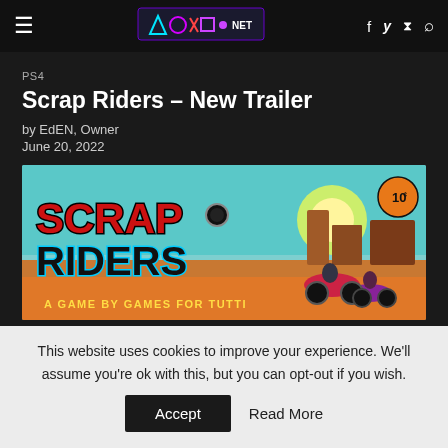psblog.net navigation header with logo, hamburger menu, and social icons
PS4
Scrap Riders – New Trailer
by EdEN, Owner
June 20, 2022
[Figure (illustration): Scrap Riders game banner — colorful pixel art showing the title 'Scrap Riders' in retro style lettering with motorbike riders in a desert landscape. Subtitle reads 'A GAME BY GAMES FOR TUTTI']
This website uses cookies to improve your experience. We'll assume you're ok with this, but you can opt-out if you wish. Accept  Read More